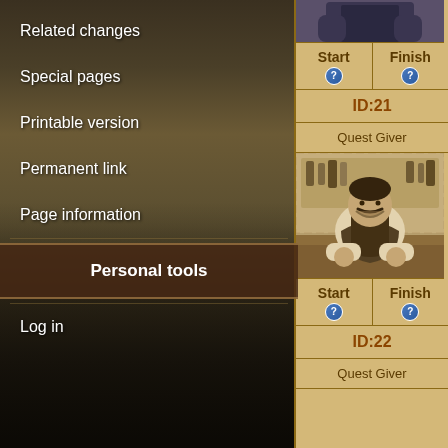Related changes
Special pages
Printable version
Permanent link
Page information
Personal tools
Log in
[Figure (screenshot): Partial view of a game character (torso) at the top of the right panel]
| Start | Finish |
| --- | --- |
| ? | ? |
ID:21
Quest Giver
[Figure (screenshot): NPC portrait: a mustachioed man in a vest sitting behind a counter in a saloon/shop setting]
| Start | Finish |
| --- | --- |
| ? | ? |
ID:22
Quest Giver